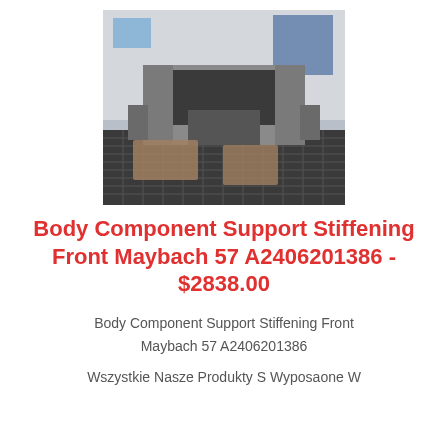[Figure (photo): Front view of a stripped car body shell/chassis on a workshop floor with metal grating, showing bare frame and front suspension components in a garage setting.]
Body Component Support Stiffening Front Maybach 57 A2406201386 - $2838.00
Body Component Support Stiffening Front
Maybach 57 A2406201386
Wszystkie Nasze Produkty S Wyposaone W